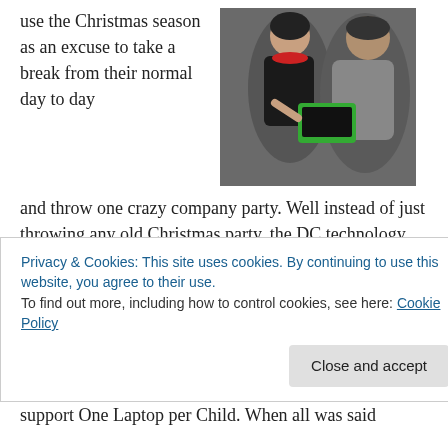use the Christmas season as an excuse to take a break from their normal day to day and throw one crazy company party. Well instead of just throwing any old Christmas party, the DC technology community decided to do something different.
[Figure (photo): Two people sitting together, one holding a green XO laptop (One Laptop Per Child device). The woman on the left wears a black top and the man on the right wears a grey jacket.]
With the help of master organizer Peter Corbett, the DC technology community had the first annual
Privacy & Cookies: This site uses cookies. By continuing to use this website, you agree to their use.
To find out more, including how to control cookies, see here: Cookie Policy
support One Laptop per Child. When all was said